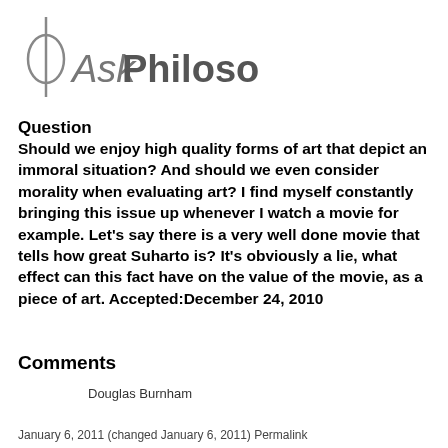[Figure (logo): AskPhilosophers logo with phi symbol and stylized text]
Question
Should we enjoy high quality forms of art that depict an immoral situation? And should we even consider morality when evaluating art? I find myself constantly bringing this issue up whenever I watch a movie for example. Let's say there is a very well done movie that tells how great Suharto is? It's obviously a lie, what effect can this fact have on the value of the movie, as a piece of art. Accepted:December 24, 2010
Comments
Douglas Burnham
January 6, 2011 (changed January 6, 2011) Permalink